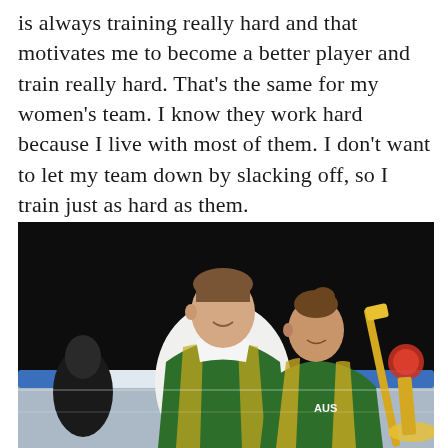is always training really hard and that motivates me to become a better player and train really hard. That's the same for my women's team. I know they work hard because I live with most of them. I don't want to let my team down by slacking off, so I train just as hard as them.
[Figure (photo): Two curling athletes in green and yellow Australian team uniforms on an ice rink. A man and a woman are standing together smiling, with curling equipment visible. The background shows a dark arena with blue barriers.]